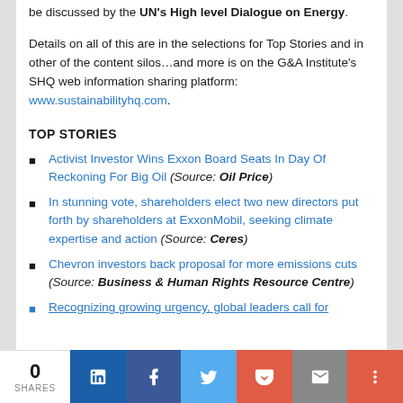be discussed by the UN's High level Dialogue on Energy.
Details on all of this are in the selections for Top Stories and in other of the content silos…and more is on the G&A Institute's SHQ web information sharing platform: www.sustainabilityhq.com.
TOP STORIES
Activist Investor Wins Exxon Board Seats In Day Of Reckoning For Big Oil (Source: Oil Price)
In stunning vote, shareholders elect two new directors put forth by shareholders at ExxonMobil, seeking climate expertise and action (Source: Ceres)
Chevron investors back proposal for more emissions cuts (Source: Business & Human Rights Resource Centre)
Recognizing growing urgency, global leaders call for
0 SHARES | LinkedIn | Facebook | Twitter | Pocket | Email | More